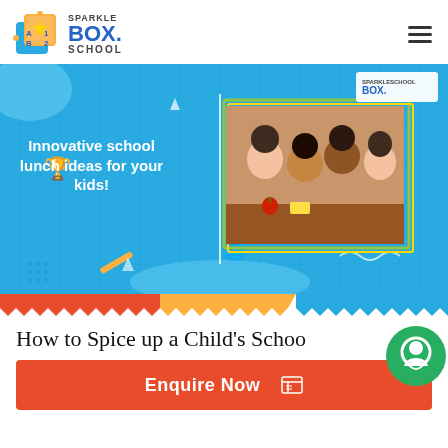[Figure (logo): Sparkle Box School logo with colorful cube and text]
[Figure (infographic): Blue banner with text 'Innovative school lunch ideas for your kids!' and photo of children eating lunch, Sparkle Box School branding]
How to Spice up a Child's Schoo
[Figure (other): Green chat/enquiry bubble icon on right side]
Enquire Now